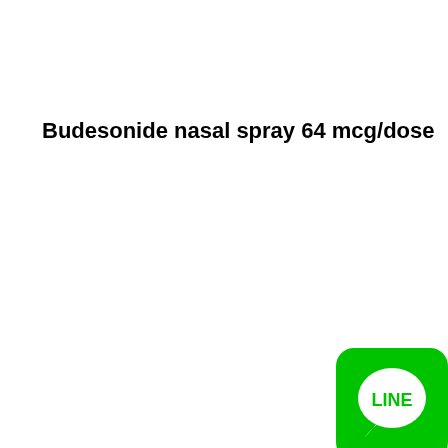Budesonide nasal spray 64 mcg/dose
[Figure (logo): LINE app logo: green rounded square with white speech bubble containing the word LINE in green text]